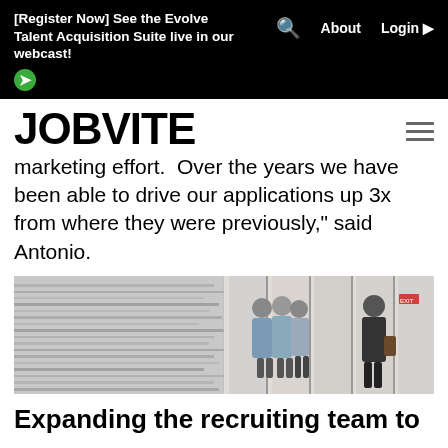[Register Now] See the Evolve Talent Acquisition Suite live in our webcast!
JOBVITE
marketing effort. Over the years we have been able to drive our applications up 3x from where they were previously," said Antonio.
[Figure (photo): Office photo showing people meeting and a corridor with glass walls]
Expanding the recruiting team to